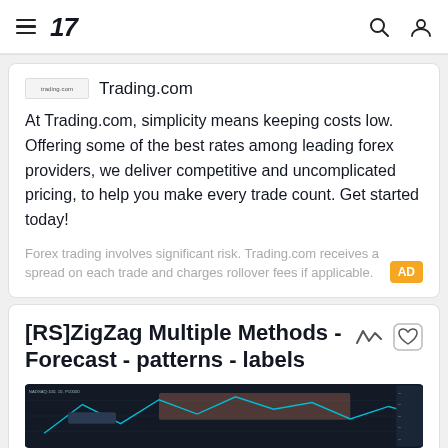17 [TradingView logo/nav bar with hamburger menu, search icon, and user icon]
Trading.com

At Trading.com, simplicity means keeping costs low. Offering some of the best rates among leading forex providers, we deliver competitive and uncomplicated pricing, to help you make every trade count. Get started today!
Forex trading involves significant risk. Trading.com receives a spread on each trade and charges rollover fees if applicable.
[RS]ZigZag Multiple Methods - Forecast - patterns - labels
[Figure (screenshot): Dark-themed trading chart preview showing ZigZag pattern with highlighted regions in teal and orange/pink, price data on right axis.]